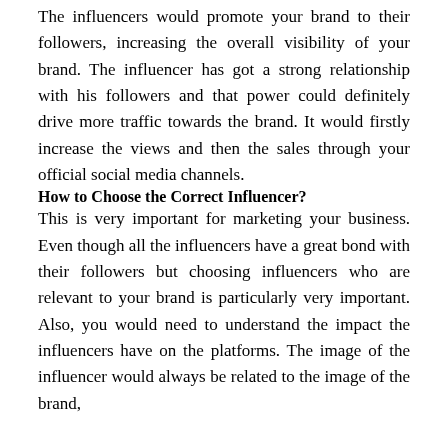The influencers would promote your brand to their followers, increasing the overall visibility of your brand. The influencer has got a strong relationship with his followers and that power could definitely drive more traffic towards the brand. It would firstly increase the views and then the sales through your official social media channels.
How to Choose the Correct Influencer?
This is very important for marketing your business. Even though all the influencers have a great bond with their followers but choosing influencers who are relevant to your brand is particularly very important. Also, you would need to understand the impact the influencers have on the platforms. The image of the influencer would always be related to the image of the brand,